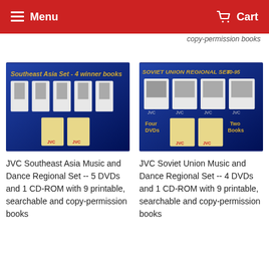Menu   Cart
copy-permission books
[Figure (photo): JVC Southeast Asia Set product image showing DVDs and books on blue background with text 'Southeast Asia Set - 4 winner books']
JVC Southeast Asia Music and Dance Regional Set -- 5 DVDs and 1 CD-ROM with 9 printable, searchable and copy-permission books
[Figure (photo): JVC Soviet Union Regional Set product image showing 4 DVDs and 2 books on blue background with text 'Soviet Union Regional Set 80-95']
JVC Soviet Union Music and Dance Regional Set -- 4 DVDs and 1 CD-ROM with 9 printable, searchable and copy-permission books